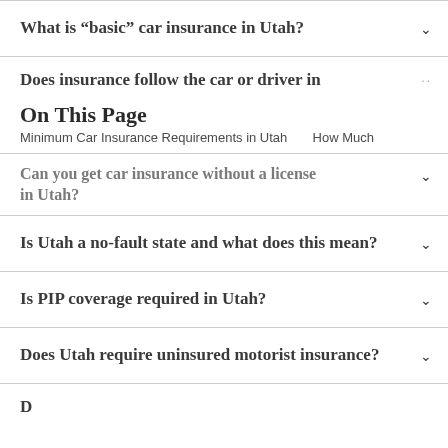What is “basic” car insurance in Utah?
Does insurance follow the car or driver in
On This Page
Minimum Car Insurance Requirements in Utah    How Much
Can you get car insurance without a license in Utah?
Is Utah a no-fault state and what does this mean?
Is PIP coverage required in Utah?
Does Utah require uninsured motorist insurance?